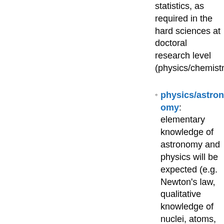statistics, as required in the hard sciences at doctoral research level (physics/chemistry/biol...
physics/astronomy: elementary knowledge of astronomy and physics will be expected (e.g. Newton's law, qualitative knowledge of nuclei, atoms, planets, stars, galaxies)
software tools: doctoral students in fundamental...